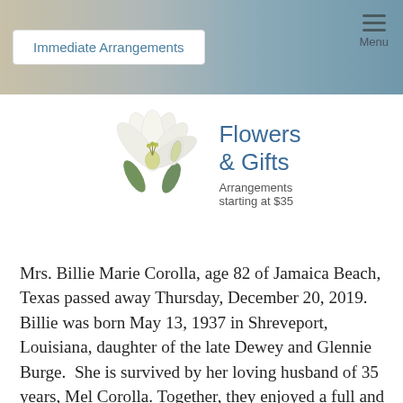Immediate Arrangements | Menu
[Figure (illustration): White lily flower illustration]
Flowers & Gifts
Arrangements starting at $35
Mrs. Billie Marie Corolla, age 82 of Jamaica Beach, Texas passed away Thursday, December 20, 2019. Billie was born May 13, 1937 in Shreveport, Louisiana, daughter of the late Dewey and Glennie Burge.  She is survived by her loving husband of 35 years, Mel Corolla. Together, they enjoyed a full and adventurous life of boating,  Continue Reading »